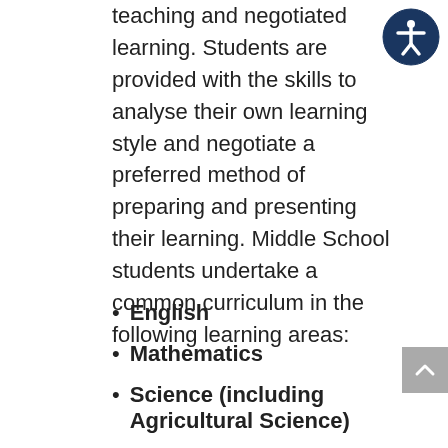teaching and negotiated learning. Students are provided with the skills to analyse their own learning style and negotiate a preferred method of preparing and presenting their learning. Middle School students undertake a common curriculum in the following learning areas:
English
Mathematics
Science (including Agricultural Science)
Humanities & Social Sciences
The Arts
Health & Physical Education